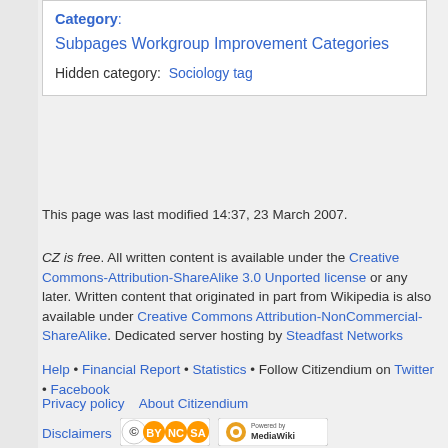| Category: |  |
| Subpages Workgroup Improvement Categories |  |
| Hidden category: | Sociology tag |
This page was last modified 14:37, 23 March 2007.
CZ is free. All written content is available under the Creative Commons-Attribution-ShareAlike 3.0 Unported license or any later. Written content that originated in part from Wikipedia is also available under Creative Commons Attribution-NonCommercial-ShareAlike. Dedicated server hosting by Steadfast Networks
Help • Financial Report • Statistics • Follow Citizendium on Twitter • Facebook
Privacy policy   About Citizendium
Disclaimers